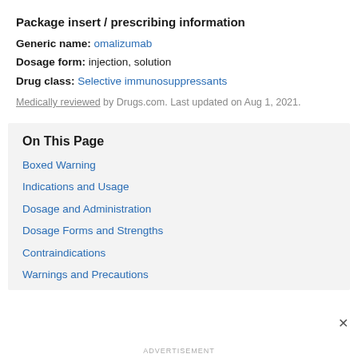Package insert / prescribing information
Generic name: omalizumab
Dosage form: injection, solution
Drug class: Selective immunosuppressants
Medically reviewed by Drugs.com. Last updated on Aug 1, 2021.
On This Page
Boxed Warning
Indications and Usage
Dosage and Administration
Dosage Forms and Strengths
Contraindications
Warnings and Precautions
ADVERTISEMENT